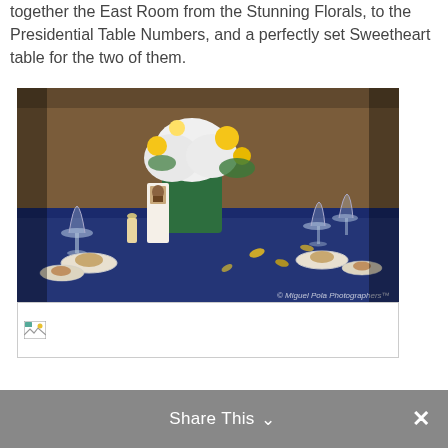together the East Room from the Stunning Florals, to the Presidential Table Numbers, and a perfectly set Sweetheart table for the two of them.
[Figure (photo): Wedding reception table photograph showing a floral centerpiece with white hydrangeas and yellow flowers in a green vase, blue tablecloth, wine glasses, bread plates, and a table number card with a presidential portrait. Watermark reads '© Miguel Pola Photographers™'.]
[Figure (photo): Broken/missing image placeholder with small image icon at top left.]
Share This ∨  ✕